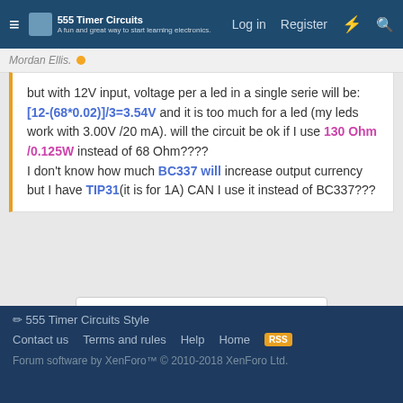555 Timer Circuits — Log in   Register
but with 12V input, voltage per a led in a single serie will be: [12-(68*0.02)]/3=3.54V and it is too much for a led (my leds work with 3.00V /20 mA). will the circuit be ok if I use 130 Ohm /0.125W instead of 68 Ohm????
I don't know how much BC337 will increase output currency but I have TIP31(it is for 1A) CAN I use it instead of BC337???
You must log in or register to reply here.
Share:
General Electronics
555 Timer Circuits Style
Contact us   Terms and rules   Help   Home
Forum software by XenForo™ © 2010-2018 XenForo Ltd.